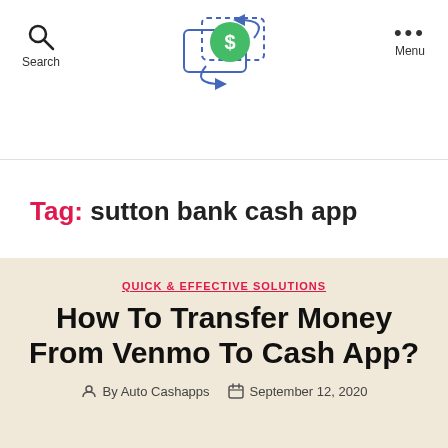Search | [Logo] | Menu
Tag: sutton bank cash app
QUICK & EFFECTIVE SOLUTIONS
How To Transfer Money From Venmo To Cash App?
By Auto Cashapps   September 12, 2020